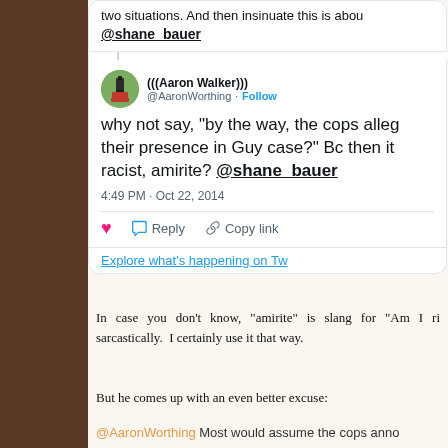[Figure (screenshot): Partial tweet from @shane_bauer visible at top, cut off. Below it a full tweet from (((Aaron Walker))) @AaronWorthing with Follow button, tweet text about cops and Guy case, timestamp 4:49 PM Oct 22 2014, like/reply/copy actions, and partial Explore bar.]
In case you don’t know, “amirite” is slang for “Am I ri sarcastically. I certainly use it that way.
But he comes up with an even better excuse:
@AaronWorthing Most would assume the cops anno